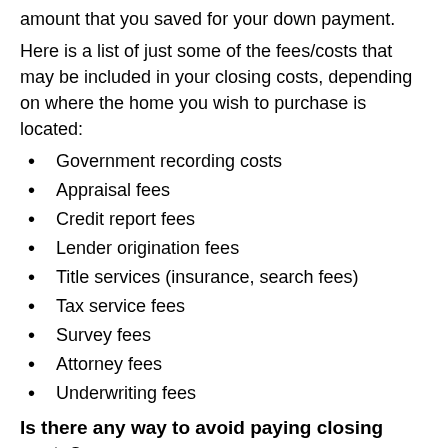amount that you saved for your down payment.
Here is a list of just some of the fees/costs that may be included in your closing costs, depending on where the home you wish to purchase is located:
Government recording costs
Appraisal fees
Credit report fees
Lender origination fees
Title services (insurance, search fees)
Tax service fees
Survey fees
Attorney fees
Underwriting fees
Is there any way to avoid paying closing costs?
Work with your lender and real estate agent to see if there are any ways to decrease or defer your closing costs. There are no-closing mortgages available, but they end up costing you more in the end with a higher interest rate, or by